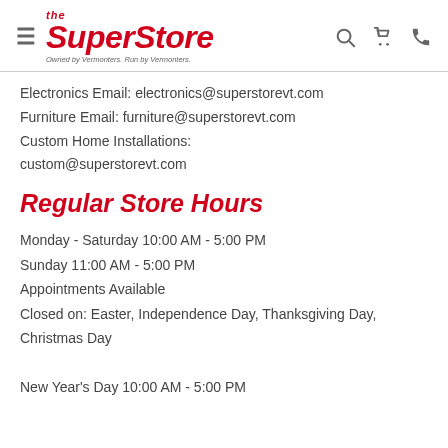the SuperStore — Owned by Vermonters. Run by Vermonters.
Electronics Email: electronics@superstorevt.com
Furniture Email: furniture@superstorevt.com
Custom Home Installations: custom@superstorevt.com
Regular Store Hours
Monday - Saturday 10:00 AM - 5:00 PM
Sunday 11:00 AM - 5:00 PM
Appointments Available
Closed on: Easter, Independence Day, Thanksgiving Day, Christmas Day

New Year's Day 10:00 AM - 5:00 PM